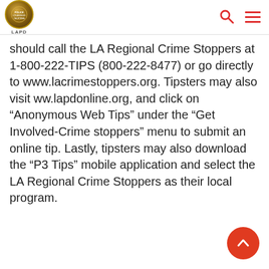LAPD
should call the LA Regional Crime Stoppers at 1-800-222-TIPS (800-222-8477) or go directly to www.lacrimestoppers.org. Tipsters may also visit ww.lapdonline.org, and click on “Anonymous Web Tips” under the “Get Involved-Crime stoppers” menu to submit an online tip. Lastly, tipsters may also download the “P3 Tips” mobile application and select the LA Regional Crime Stoppers as their local program.